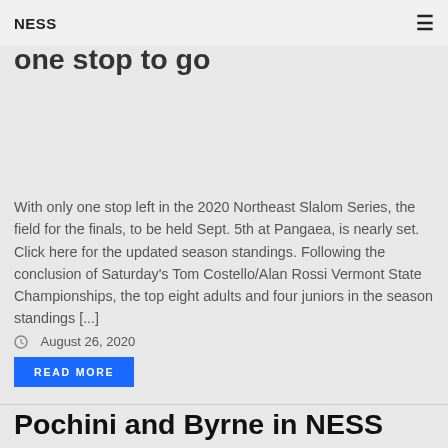NESS
NESS Finals nearly set with one stop to go
With only one stop left in the 2020 Northeast Slalom Series, the field for the finals, to be held Sept. 5th at Pangaea, is nearly set. Click here for the updated season standings. Following the conclusion of Saturday's Tom Costello/Alan Rossi Vermont State Championships, the top eight adults and four juniors in the season standings [...]
August 26, 2020
READ MORE
Pochini and Byrne in NESS lead with 3 stops to go